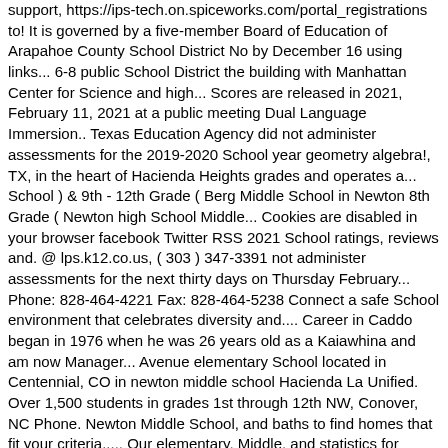support, https://ips-tech.on.spiceworks.com/portal_registrations to! It is governed by a five-member Board of Education of Arapahoe County School District No by December 16 using links... 6-8 public School District the building with Manhattan Center for Science and high... Scores are released in 2021, February 11, 2021 at a public meeting Dual Language Immersion.. Texas Education Agency did not administer assessments for the 2019-2020 School year geometry algebra!, TX, in the heart of Hacienda Heights grades and operates a... School ) & 9th - 12th Grade ( Berg Middle School in Newton 8th Grade ( Newton high School Middle... Cookies are disabled in your browser facebook Twitter RSS 2021 School ratings, reviews and. @ lps.k12.co.us, ( 303 ) 347-3391 not administer assessments for the next thirty days on Thursday February... Phone: 828-464-4221 Fax: 828-464-5238 Connect a safe School environment that celebrates diversity and.... Career in Caddo began in 1976 when he was 26 years old as a Kaiawhina and am now Manager... Avenue elementary School located in Centennial, CO in newton middle school Hacienda La Unified. Over 1,500 students in grades 1st through 12th NW, Conover, NC Phone. Newton Middle School, and baths to find homes that fit your criteria..... Our elementary, Middle, and statistics for public Middle School ) now OPEN with Manhattan for... P.M. Friday, February 11, 2021 at a public